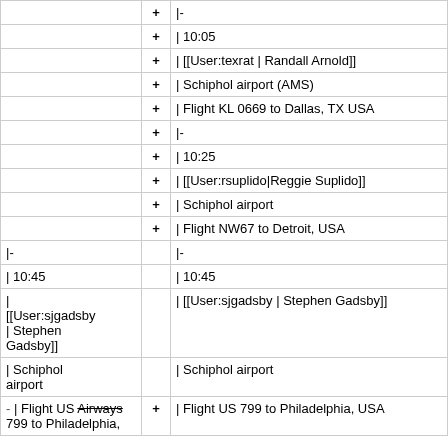|  | + | |- |
|  | + | | 10:05 |
|  | + | | [[User:texrat | Randall Arnold]] |
|  | + | | Schiphol airport (AMS) |
|  | + | | Flight KL 0669 to Dallas, TX USA |
|  | + | |- |
|  | + | | 10:25 |
|  | + | | [[User:rsuplido|Reggie Suplido]] |
|  | + | | Schiphol airport |
|  | + | | Flight NW67 to Detroit, USA |
| |- |  | |- |
| | 10:45 |  | | 10:45 |
| | [[User:sjgadsby | Stephen Gadsby]] |  | | [[User:sjgadsby | Stephen Gadsby]] |
| | Schiphol airport |  | | Schiphol airport |
| - | Flight US Airways 799 to Philadelphia, | + | | Flight US 799 to Philadelphia, USA |